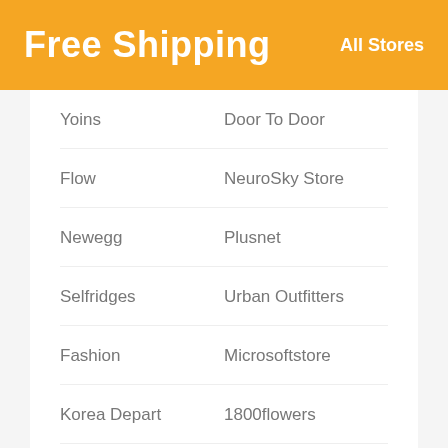Free Shipping   All Stores
Yoins
Door To Door
Flow
NeuroSky Store
Newegg
Plusnet
Selfridges
Urban Outfitters
Fashion
Microsoftstore
Korea Depart
1800flowers
Nerf
Amazon Canada
Johnston & Murphy
Snapfish